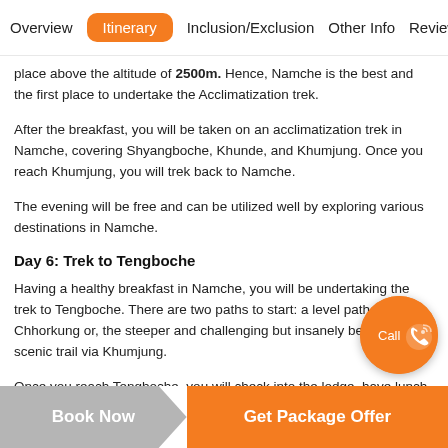Overview | Itinerary | Inclusion/Exclusion | Other Info | Reviews
place above the altitude of 2500m. Hence, Namche is the best and the first place to undertake the Acclimatization trek.
After the breakfast, you will be taken on an acclimatization trek in Namche, covering Shyangboche, Khunde, and Khumjung. Once you reach Khumjung, you will trek back to Namche.
The evening will be free and can be utilized well by exploring various destinations in Namche.
Day 6: Trek to Tengboche
Having a healthy breakfast in Namche, you will be undertaking the trek to Tengboche. There are two paths to start: a level path via Chhorkung or, the steeper and challenging but insanely beautiful scenic trail via Khumjung.
Once you reach Tengboche, you will check into the lodge, have lunch and
[Figure (other): Call button - orange circular button with phone icon and 'Call' label]
Book Now | Get Package Offer